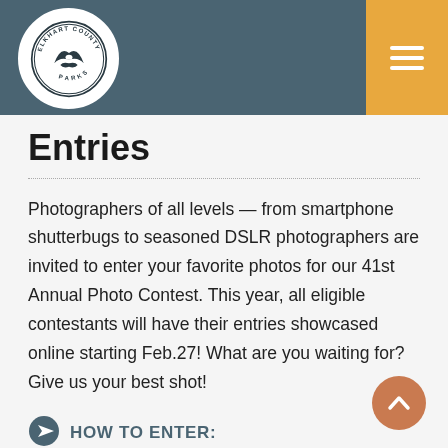[Figure (logo): Elkhart County Parks circular logo with bird/wave design, white background]
Entries
Photographers of all levels — from smartphone shutterbugs to seasoned DSLR photographers are invited to enter your favorite photos for our 41st Annual Photo Contest. This year, all eligible contestants will have their entries showcased online starting Feb.27! What are you waiting for? Give us your best shot!
HOW TO ENTER: